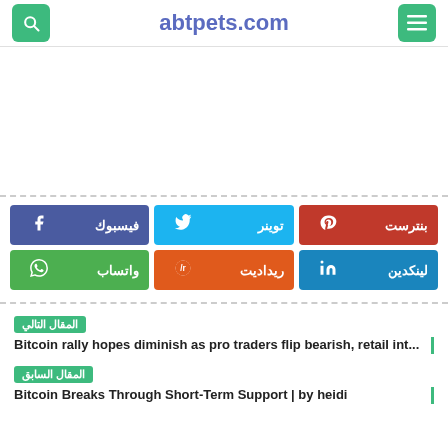abtpets.com
[Figure (other): Advertisement/blank white area]
فيسبوك | توينر | بنترست | واتساب | ريداديت | لينكدين
المقال التالي
Bitcoin rally hopes diminish as pro traders flip bearish, retail int...
المقال السابق
Bitcoin Breaks Through Short-Term Support | by heidi